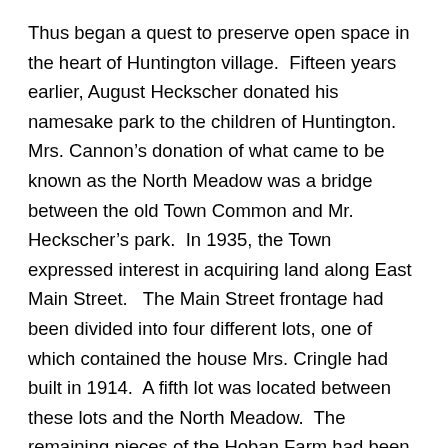Thus began a quest to preserve open space in the heart of Huntington village.  Fifteen years earlier, August Heckscher donated his namesake park to the children of Huntington.  Mrs. Cannon’s donation of what came to be known as the North Meadow was a bridge between the old Town Common and Mr. Heckscher’s park.  In 1935, the Town expressed interest in acquiring land along East Main Street.   The Main Street frontage had been divided into four different lots, one of which contained the house Mrs. Cringle had built in 1914.  A fifth lot was located between these lots and the North Meadow.  The remaining pieces of the Hoban Farm had been divided into eight small lots on Sabbath Day Path, each with a house.
Following Mrs. Cannon’s lead, the members of the Committee on the Preservation of Old Huntington—by